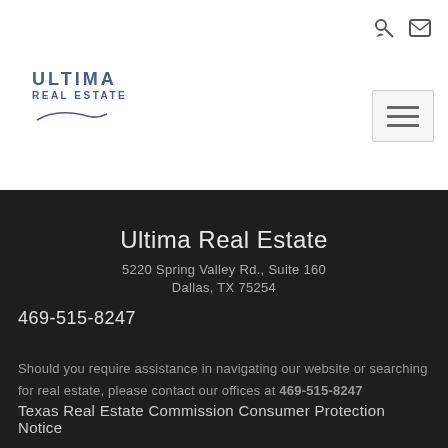[Figure (logo): Ultima Real Estate logo with blue/navy text]
Ultima Real Estate
5220 Spring Valley Rd., Suite 160
Dallas, TX 75254
469-515-8247
Should you require assistance in navigating our website or searching for real estate, please contact our offices at 469-515-8247
Texas Real Estate Commission Consumer Protection Notice